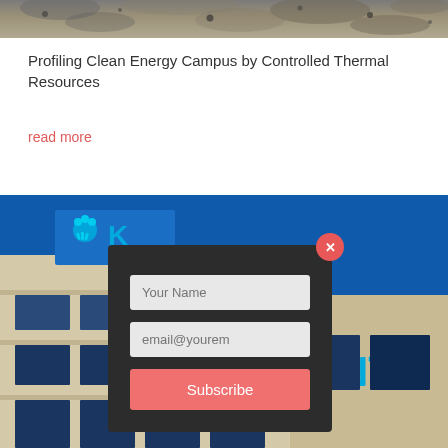[Figure (photo): Top portion of a rocky or geological formation, cropped image at top of page]
Profiling Clean Energy Campus by Controlled Thermal Resources
read more
[Figure (photo): Photo of a modern office building exterior with blue sky background showing a logo with a crown/sun symbol and the letters K and ENTE visible, overlaid with a dark modal subscription form containing fields for Your Name, email@yourem, and a Subscribe button with a red close button]